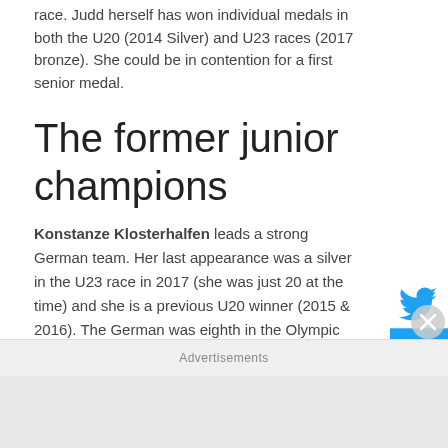race. Judd herself has won individual medals in both the U20 (2014 Silver) and U23 races (2017 bronze). She could be in contention for a first senior medal.
The former junior champions
Konstanze Klosterhalfen leads a strong German team. Her last appearance was a silver in the U23 race in 2017 (she was just 20 at the time) and she is a previous U20 winner (2015 & 2016). The German was eighth in the Olympic 10,000m final and for my
Advertisements